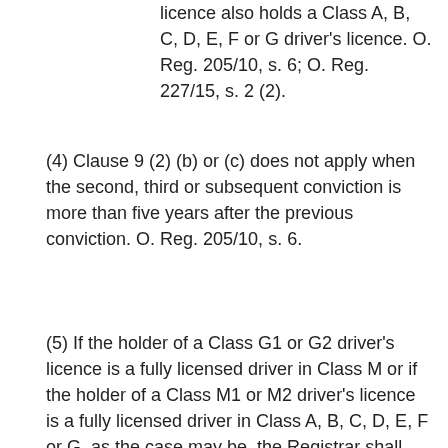licence also holds a Class A, B, C, D, E, F or G driver's licence. O. Reg. 205/10, s. 6; O. Reg. 227/15, s. 2 (2).
(4) Clause 9 (2) (b) or (c) does not apply when the second, third or subsequent conviction is more than five years after the previous conviction. O. Reg. 205/10, s. 6.
(5) If the holder of a Class G1 or G2 driver's licence is a fully licensed driver in Class M or if the holder of a Class M1 or M2 driver's licence is a fully licensed driver in Class A, B, C, D, E, F or G, as the case may be, the Registrar shall only cancel the person's Class G1, G2, M1 or M2 driver's licence, as the case may be, as described in clause 9 (2) (c). O. Reg. 205/10, s. 6.